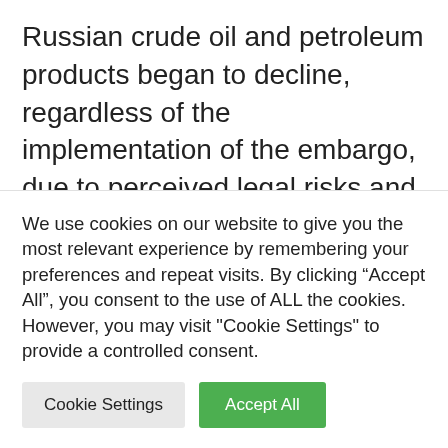Russian crude oil and petroleum products began to decline, regardless of the implementation of the embargo, due to perceived legal risks and the commitment of major European companies to reduce their activities with Russia. Admittedly, some of these streams find their takers elsewhere, such as currently in India, but at a high discount (about 1/3 compared to world prices).
We use cookies on our website to give you the most relevant experience by remembering your preferences and repeat visits. By clicking “Accept All”, you consent to the use of ALL the cookies. However, you may visit "Cookie Settings" to provide a controlled consent.